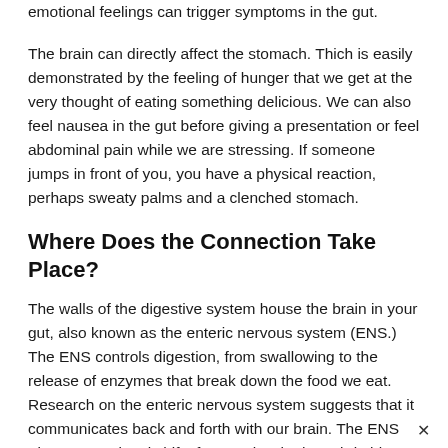emotional feelings can trigger symptoms in the gut.
The brain can directly affect the stomach. Thich is easily demonstrated by the feeling of hunger that we get at the very thought of eating something delicious. We can also feel nausea in the gut before giving a presentation or feel abdominal pain while we are stressing. If someone jumps in front of you, you have a physical reaction, perhaps sweaty palms and a clenched stomach.
Where Does the Connection Take Place?
The walls of the digestive system house the brain in your gut, also known as the enteric nervous system (ENS.) The ENS controls digestion, from swallowing to the release of enzymes that break down the food we eat. Research on the enteric nervous system suggests that it communicates back and forth with our brain. The ENS triggers emotional shifts for people who have irritable bowel syndrome.